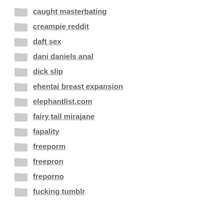caught masterbating
creampie reddit
daft sex
dani daniels anal
dick slip
ehentai breast expansion
elephantlist.com
fairy tail mirajane
fapality
freeporm
freepron
freporno
fucking tumblr